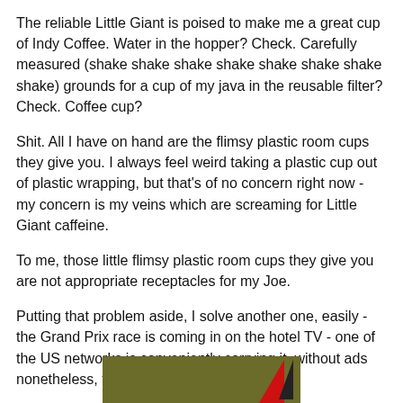The reliable Little Giant is poised to make me a great cup of Indy Coffee. Water in the hopper? Check. Carefully measured (shake shake shake shake shake shake shake shake) grounds for a cup of my java in the reusable filter? Check. Coffee cup?
Shit. All I have on hand are the flimsy plastic room cups they give you. I always feel weird taking a plastic cup out of plastic wrapping, but that's of no concern right now - my concern is my veins which are screaming for Little Giant caffeine.
To me, those little flimsy plastic room cups they give you are not appropriate receptacles for my Joe.
Putting that problem aside, I solve another one, easily - the Grand Prix race is coming in on the hotel TV - one of the US networks is conveniently carrying it, without ads nonetheless, for some reason.
[Figure (photo): Bottom portion of a photo showing what appears to be a racing flag or motorsport-related image with dark olive/yellow background and a triangular red and black shape.]